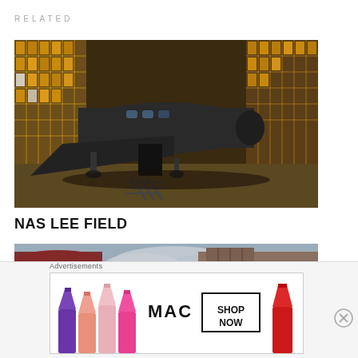RELATED
[Figure (photo): Abandoned vintage airplane inside a large industrial hangar with yellow-lit grid windows]
NAS LEE FIELD
[Figure (photo): Old brick buildings with cloudy sky, urban abandoned street scene]
Advertisements
[Figure (photo): MAC cosmetics advertisement showing lipsticks in various colors with SHOP NOW text]